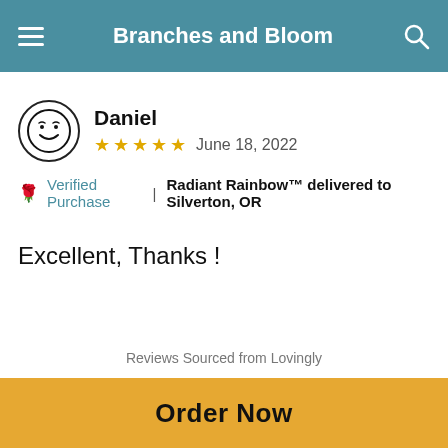Branches and Bloom
Daniel  ★★★★★  June 18, 2022
🌹 Verified Purchase  |  Radiant Rainbow™ delivered to Silverton, OR
Excellent, Thanks !
Reviews Sourced from Lovingly
You May Also Like
[Figure (photo): Flower arrangements visible at bottom of page]
Order Now